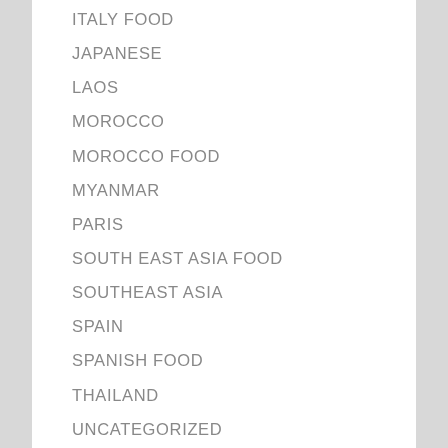ITALY FOOD
JAPANESE
LAOS
MOROCCO
MOROCCO FOOD
MYANMAR
PARIS
SOUTH EAST ASIA FOOD
SOUTHEAST ASIA
SPAIN
SPANISH FOOD
THAILAND
UNCATEGORIZED
VIETNAM
WABI SABI